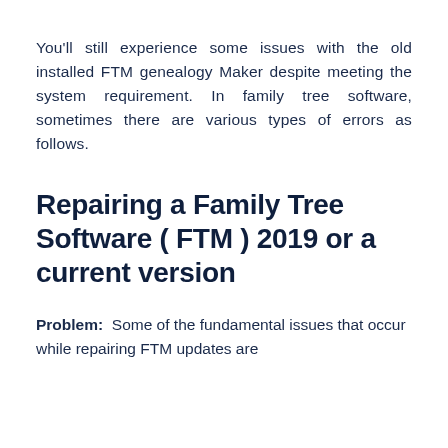You'll still experience some issues with the old installed FTM genealogy Maker despite meeting the system requirement. In family tree software, sometimes there are various types of errors as follows.
Repairing a Family Tree Software ( FTM ) 2019 or a current version
Problem:  Some of the fundamental issues that occur while repairing FTM updates are